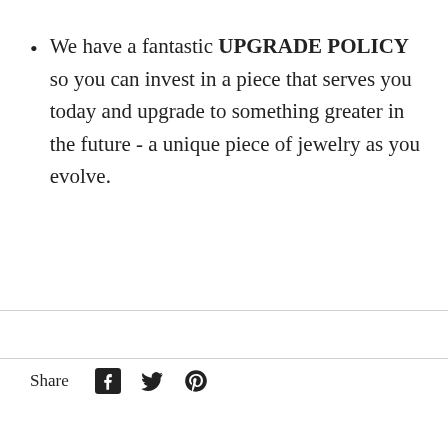We have a fantastic UPGRADE POLICY so you can invest in a piece that serves you today and upgrade to something greater in the future - a unique piece of jewelry as you evolve.
Share